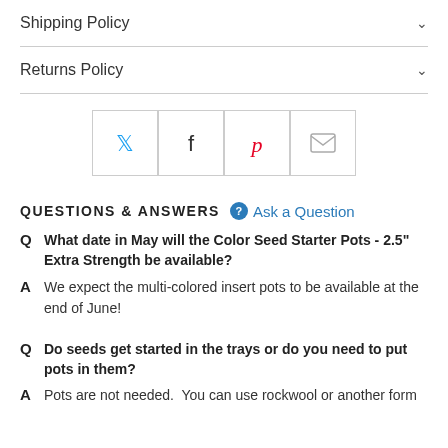Shipping Policy
Returns Policy
[Figure (other): Social share buttons: Twitter, Facebook, Pinterest, Email]
QUESTIONS & ANSWERS  Ask a Question
Q  What date in May will the Color Seed Starter Pots - 2.5" Extra Strength be available?
A  We expect the multi-colored insert pots to be available at the end of June!
Q  Do seeds get started in the trays or do you need to put pots in them?
A  Pots are not needed.  You can use rockwool or another form